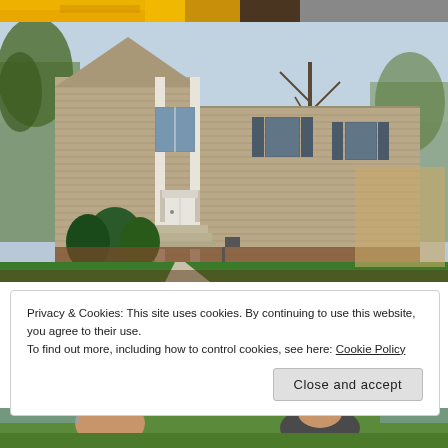[Figure (photo): Partial top strip of a yellow/orange image, cropped at top of page]
[Figure (photo): Exterior photo of a two-story colonial-style house with beige/tan horizontal siding, white front door, decorative white columns, green shrubs, green lawn, trees in background, walkway leading to front steps]
Privacy & Cookies: This site uses cookies. By continuing to use this website, you agree to their use.
To find out more, including how to control cookies, see here: Cookie Policy
Close and accept
[Figure (photo): Bottom strip of a photo showing people outdoors, partially cropped at bottom of page]